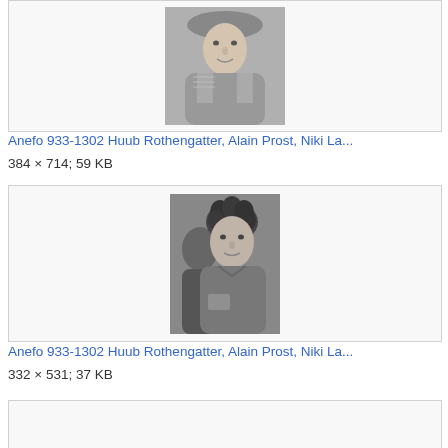[Figure (photo): Black and white photo of a man wearing a cap, cropped upper body, centered in a bordered gallery thumbnail box]
Anefo 933-1302 Huub Rothengatter, Alain Prost, Niki La...
384 × 714; 59 KB
[Figure (photo): Black and white photo of a young man with curly hair wearing a collared shirt, centered in a bordered gallery thumbnail box]
Anefo 933-1302 Huub Rothengatter, Alain Prost, Niki La...
332 × 531; 37 KB